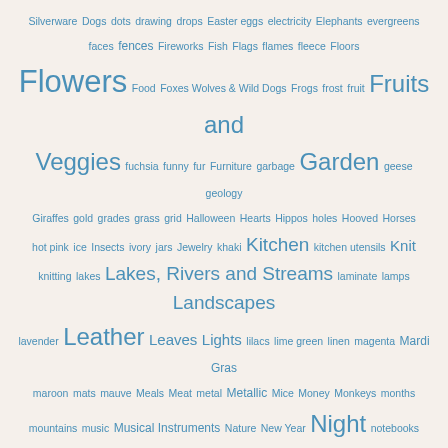Silverware Dogs dots drawing drops Easter eggs electricity Elephants evergreens faces fences Fireworks Fish Flags flames fleece Floors Flowers Food Foxes Wolves & Wild Dogs Frogs frost fruit Fruits and Veggies fuchsia funny fur Furniture garbage Garden geese geology Giraffes gold grades grass grid Halloween Hearts Hippos holes Hooved Horses hot pink ice Insects ivory jars Jewelry khaki Kitchen kitchen utensils Knit knitting lakes Lakes, Rivers and Streams laminate lamps Landscapes lavender Leather Leaves Lights lilacs lime green linen magenta Mardi Gras maroon mats mauve Meals Meat metal Metallic Mice Money Monkeys months mountains music Musical Instruments Nature New Year Night notebooks Numbers Objects Office olive green ornament Other paint Painted Paper, Cardboard, etc. parchment Park Pasta paths patriotic peach peeling People peppers pickets Pigs & Hogs pine trees Places plaid Plants Plastic, Rubber etc. pleats plush polka dots Presents quilted quilting Rabbits Raccoons Random reflections Reptiles ripples Rock, Stone & Dirt rocks Rocks and Minerals roofs Rooms roses round rugs rust Saint Patrick's Day Salad sandstone school School or Office Supplies Seals & Sea Lions seeds Sewing and Crafts shades shadows sheeting Shells shingles sidewalks Siding and Panling Signs Sky sky blue Snacks speckled Sports Spring squares Squirrels Store straw Street street signs stucco